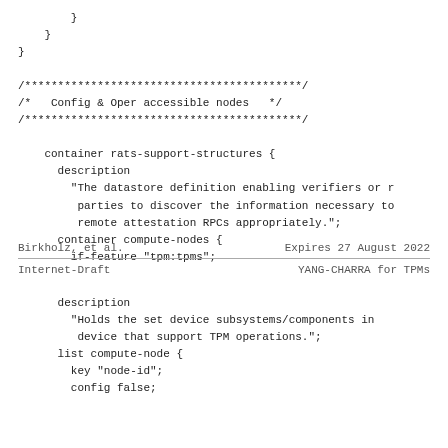}
    }
}

/******************************************/
/*   Config & Oper accessible nodes   */
/******************************************/

    container rats-support-structures {
      description
        "The datastore definition enabling verifiers or r
         parties to discover the information necessary to
         remote attestation RPCs appropriately.";
      container compute-nodes {
        if-feature "tpm:tpms";
Birkholz, et al.        Expires 27 August 2022
Internet-Draft                YANG-CHARRA for TPMs
description
        "Holds the set device subsystems/components in
         device that support TPM operations.";
      list compute-node {
        key "node-id";
        config false;